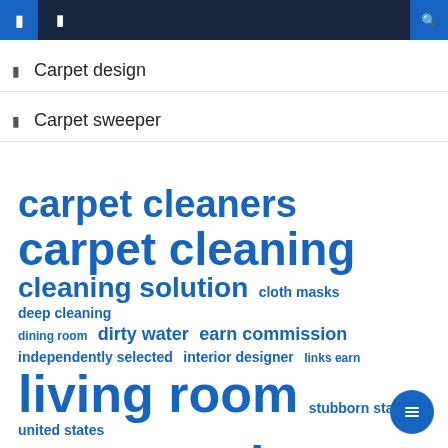Navigation bar with icons and search
Carpet design
Carpet sweeper
carpet cleaners carpet cleaning cleaning solution cloth masks deep cleaning dining room dirty water earn commission independently selected interior designer links earn living room stubborn stains united states vacuum cleaner